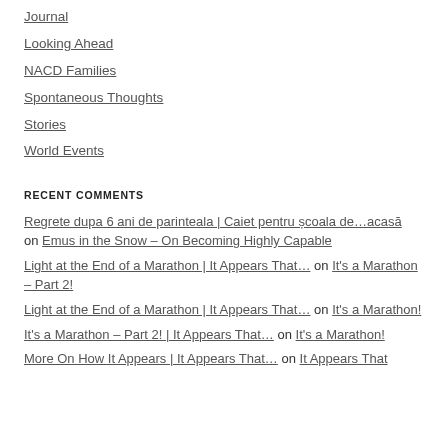Journal
Looking Ahead
NACD Families
Spontaneous Thoughts
Stories
World Events
RECENT COMMENTS
Regrete dupa 6 ani de parinteala | Caiet pentru școala de…acasă on Emus in the Snow – On Becoming Highly Capable
Light at the End of a Marathon | It Appears That… on It's a Marathon – Part 2!
Light at the End of a Marathon | It Appears That… on It's a Marathon!
It's a Marathon – Part 2! | It Appears That… on It's a Marathon!
More On How It Appears | It Appears That… on It Appears That